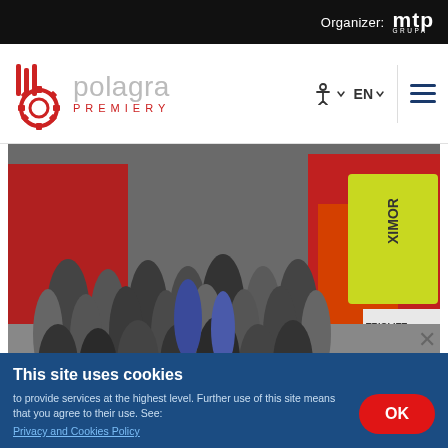Organizer: mtp GRUPA
[Figure (logo): Polagra Premiery logo with gear icon and red text]
[Figure (photo): Crowded agricultural exhibition hall with red tractors and machinery, visitors walking around, XIMOR and TRIOLIET banners visible]
Equally interesting is Pavilion 5A, called the Innovation Pavilion, in which the Innovation Zone was located, where Zootechnics Day with training of the Agency for Restructuring and Modernization
This site uses cookies
to provide services at the highest level. Further use of this site means that you agree to their use. See: Privacy and Cookies Policy